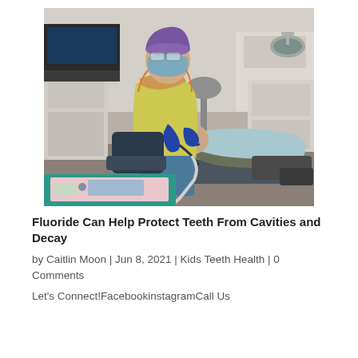[Figure (photo): A dental hygienist wearing a purple surgical cap, yellow gown, blue mask and gloves performs a dental procedure on a patient lying in a dental chair. A teal tray with dental instruments and supplies is visible in the foreground. The dental office setting includes cabinets, a computer, and dental equipment in the background.]
Fluoride Can Help Protect Teeth From Cavities and Decay
by Caitlin Moon | Jun 8, 2021 | Kids Teeth Health | 0 Comments
Let's Connect!FacebookinstagramCall Us